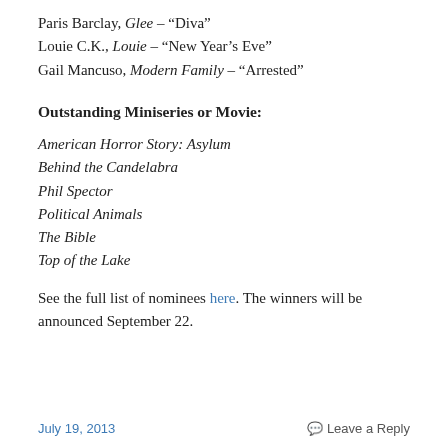Paris Barclay, Glee – "Diva"
Louie C.K., Louie – "New Year's Eve"
Gail Mancuso, Modern Family – "Arrested"
Outstanding Miniseries or Movie:
American Horror Story: Asylum
Behind the Candelabra
Phil Spector
Political Animals
The Bible
Top of the Lake
See the full list of nominees here. The winners will be announced September 22.
July 19, 2013   Leave a Reply